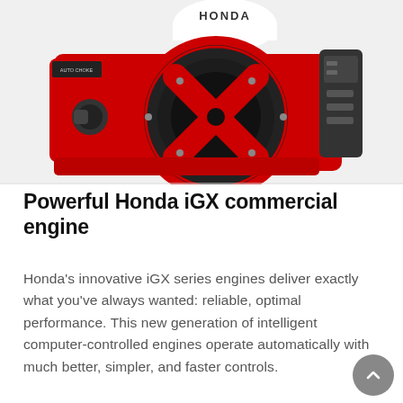[Figure (photo): Honda iGX commercial engine, red body with black hexagonal mesh fan cover featuring an X pattern, white air filter housing on top, black control panel on right side, AUTO CHOKE label visible on left side.]
Powerful Honda iGX commercial engine
Honda's innovative iGX series engines deliver exactly what you've always wanted: reliable, optimal performance. This new generation of intelligent computer-controlled engines operate automatically with much better, simpler, and faster controls.